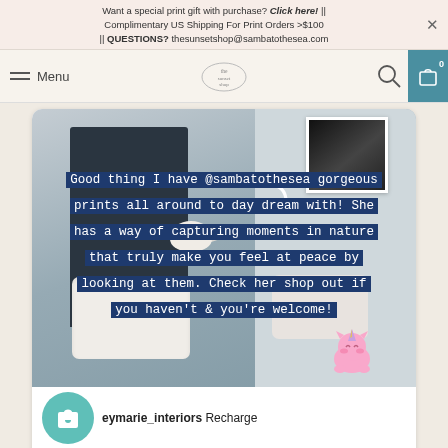Want a special print gift with purchase? Click here! || Complimentary US Shipping For Print Orders >$100 || QUESTIONS? thesunsetshop@sambatothesea.com
Menu | [logo: the sunset shop] | [search icon] | [cart icon] 0
[Figure (screenshot): Instagram post screenshot showing a bedroom photo with dark headboard, lamp, white pillows, and a framed black-and-white photo on the wall. A white arrow icon is visible. Blue text overlay reads: 'Good thing I have @sambatothesea gorgeous prints all around to day dream with! She has a way of capturing moments in nature that truly make you feel at peace by looking at them. Check her shop out if you haven't & you're welcome!' A unicorn cat emoji sticker is at bottom right. Bottom bar shows teal circle with shopping bag icon, username 'eymarie_interiors' and text 'Recharge', with ellipsis dots below.]